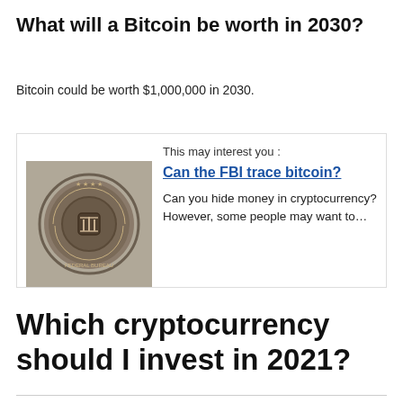What will a Bitcoin be worth in 2030?
Bitcoin could be worth $1,000,000 in 2030.
[Figure (screenshot): Promotional card with FBI seal image on left and text on right: 'This may interest you : Can the FBI trace bitcoin? Can you hide money in cryptocurrency? However, some people may want to...']
Which cryptocurrency should I invest in 2021?